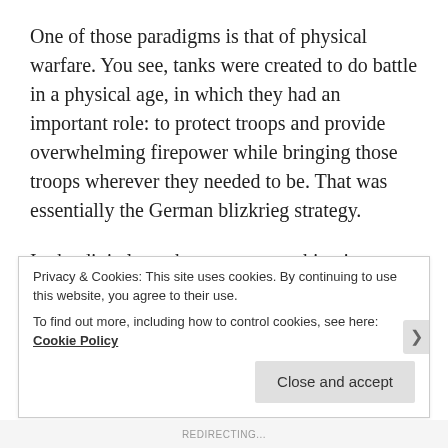One of those paradigms is that of physical warfare. You see, tanks were created to do battle in a physical age, in which they had an important role: to protect troops and provide overwhelming firepower while bringing those troops wherever they needed to be. That was essentially the German blizkrieg strategy.
In the digital age, however, everything is connected to the internet, or very soon will be. Not just every computer, but every bridge, every building, every power plant and energy grid, and every car. And as security futurist Marc Goodman noted in his book
Privacy & Cookies: This site uses cookies. By continuing to use this website, you agree to their use.
To find out more, including how to control cookies, see here: Cookie Policy
Close and accept
REDIRECTING...